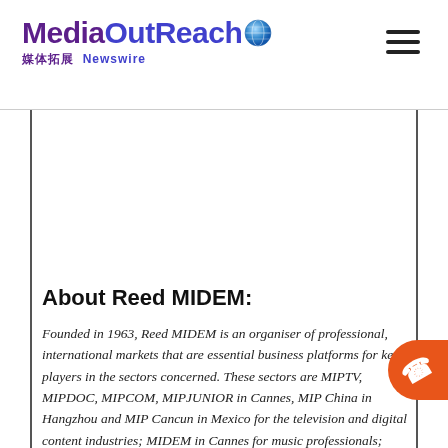[Figure (logo): MediaOutReach logo with globe icon, Chinese characters 媒体拓展 and Newswire text below]
About Reed MIDEM:
Founded in 1963, Reed MIDEM is an organiser of professional, international markets that are essential business platforms for key players in the sectors concerned. These sectors are MIPTV, MIPDOC, MIPCOM, MIPJUNIOR in Cannes, MIP China in Hangzhou and MIP Cancun in Mexico for the television and digital content industries; MIDEM in Cannes for music professionals; Esports BAR in Cannes and in Miami for the esports business; MIPIM in Cannes, MIPIM UK Summit in London, MIPIM Asia